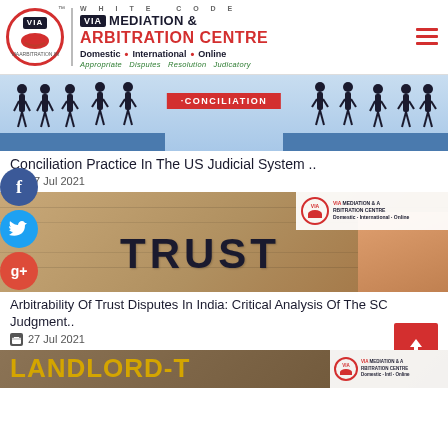[Figure (logo): White Code VIA Mediation & Arbitration Centre logo with red circle, handshake, brand name, and tagline. Domestic, International, Online services listed.]
[Figure (illustration): Conciliation banner image with silhouette figures on two blue platforms separated by a gap, with a red label saying CONCILIATION in the middle]
Conciliation Practice In The US Judicial System ..
27 Jul 2021
[Figure (photo): Photo of cardboard boxes with TRUST stamped in large letters, with VIA Mediation & Arbitration Centre badge overlay and a hand in the frame]
Arbitrability Of Trust Disputes In India: Critical Analysis Of The SC Judgment..
27 Jul 2021
[Figure (photo): Partial view of books with LANDLORD-T text visible in gold letters, with VIA Mediation & Arbitration Centre badge]